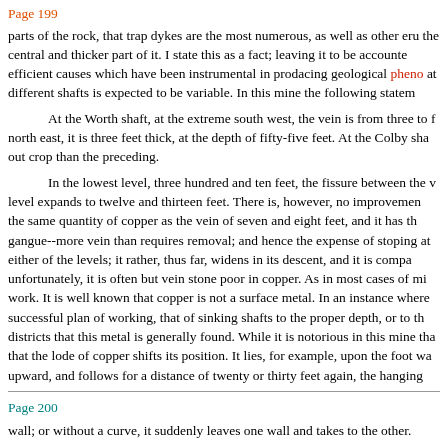Page 199
parts of the rock, that trap dykes are the most numerous, as well as other eru the central and thicker part of it. I state this as a fact; leaving it to be accounte efficient causes which have been instrumental in prodacing geological pheno at different shafts is expected to be variable. In this mine the following statem
At the Worth shaft, at the extreme south west, the vein is from three to f north east, it is three feet thick, at the depth of fifty-five feet. At the Colby sha out crop than the preceding.
In the lowest level, three hundred and ten feet, the fissure between the v level expands to twelve and thirteen feet. There is, however, no improvemen the same quantity of copper as the vein of seven and eight feet, and it has th gangue--more vein than requires removal; and hence the expense of stoping at either of the levels; it rather, thus far, widens in its descent, and it is compa unfortunately, it is often but vein stone poor in copper. As in most cases of mi work. It is well known that copper is not a surface metal. In an instance where successful plan of working, that of sinking shafts to the proper depth, or to th districts that this metal is generally found. While it is notorious in this mine tha that the lode of copper shifts its position. It lies, for example, upon the foot wa upward, and follows for a distance of twenty or thirty feet again, the hanging
Page 200
wall; or without a curve, it suddenly leaves one wall and takes to the other.
The foregoing statement applies to the shiftings of a solid shoot of ore. I masses through the vein stone, which has been at times very equable; in oth insulated masses eighteen or twenty inches long, and seven or eight inches w